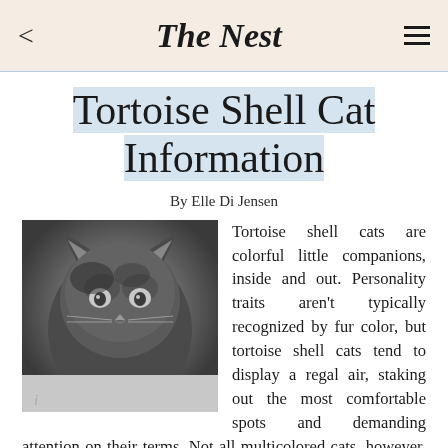The Nest
Tortoise Shell Cat Information
By Elle Di Jensen
[Figure (photo): Black and white photograph of a tortoise shell cat looking at the camera]
Tortoise shell cats are colorful little companions, inside and out. Personality traits aren't typically recognized by fur color, but tortoise shell cats tend to display a regal air, staking out the most comfortable spots and demanding attention on their terms. Not all multicolored cats, however, are true tortoise shells.